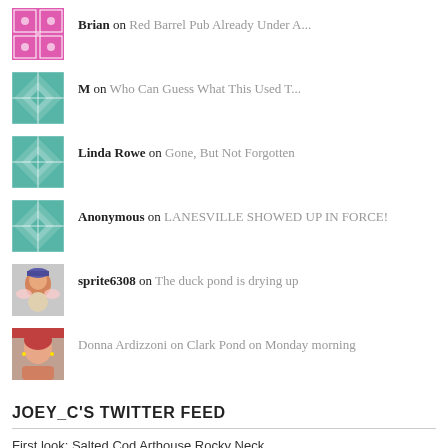Brian on Red Barrel Pub Already Under A...
M on Who Can Guess What This Used T...
Linda Rowe on Gone, But Not Forgotten
Anonymous on LANESVILLE SHOWED UP IN FORCE!
sprite6308 on The duck pond is drying up
Donna Ardizzoni on Clark Pond on Monday morning
JOEY_C'S TWITTER FEED
First look: Salted Cod Arthouse Rocky Neck
goodmorninggloucester.com/2033/08/31/fir... Joey_C's